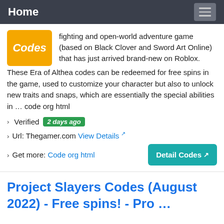Home
[Figure (other): Orange badge with italic bold white text 'Codes']
fighting and open-world adventure game (based on Black Clover and Sword Art Online) that has just arrived brand-new on Roblox.These Era of Althea codes can be redeemed for free spins in the game, used to customize your character but also to unlock new traits and snaps, which are essentially the special abilities in … code org html
› Verified  2 days ago
› Url: Thegamer.com  View Details
› Get more:  Code org html
Detail Codes
Project Slayers Codes (August 2022) - Free spins! - Pro …